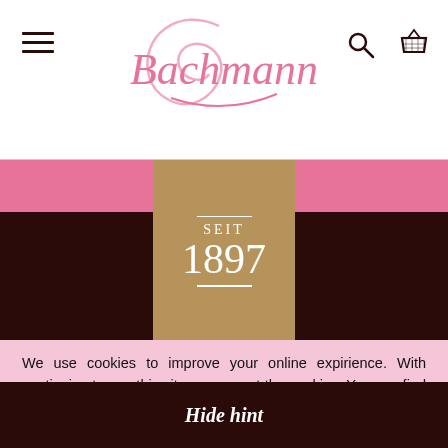Bachmann — navigation header with hamburger menu, logo, search and cart icons
[Figure (logo): Bachmann bakery logo in pink cursive font with stylized B swash]
[Figure (infographic): Decorative gold ribbon/badge on dark brown and pink background reading SEIT 1897]
Products
We use cookies to improve your online expirience. With continuing to use this site you accept the cookies. You can find more informations here.
Hide hint